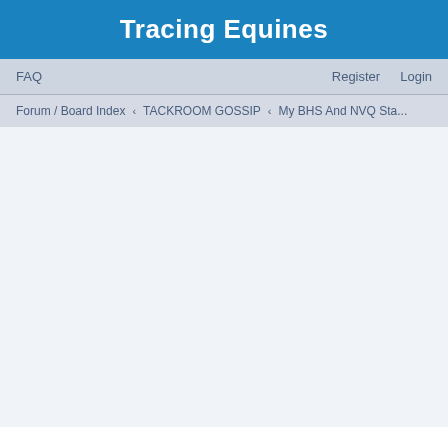Tracing Equines
FAQ   Register   Login
Forum / Board Index  ‹  TACKROOM GOSSIP  ‹  My BHS And NVQ Sta...